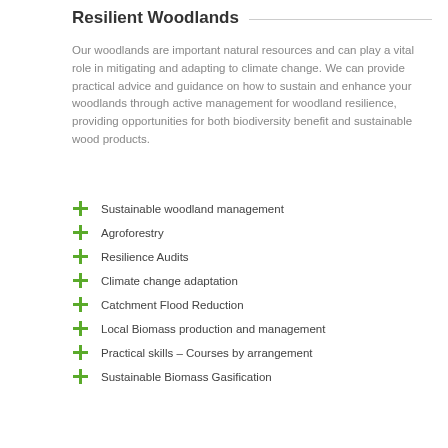Resilient Woodlands
Our woodlands are important natural resources and can play a vital role in mitigating and adapting to climate change. We can provide practical advice and guidance on how to sustain and enhance your woodlands through active management for woodland resilience, providing opportunities for both biodiversity benefit and sustainable wood products.
Sustainable woodland management
Agroforestry
Resilience Audits
Climate change adaptation
Catchment Flood Reduction
Local Biomass production and management
Practical skills – Courses by arrangement
Sustainable Biomass Gasification